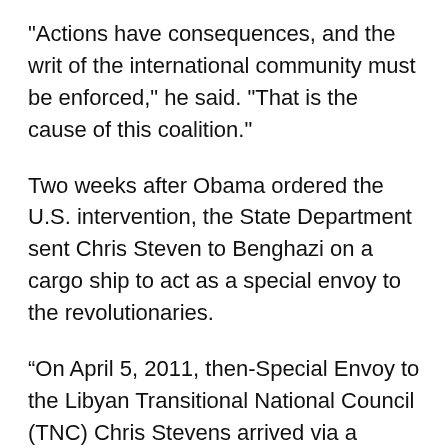"Actions have consequences, and the writ of the international community must be enforced," he said. "That is the cause of this coalition."
Two weeks after Obama ordered the U.S. intervention, the State Department sent Chris Steven to Benghazi on a cargo ship to act as a special envoy to the revolutionaries.
“On April 5, 2011, then-Special Envoy to the Libyan Transitional National Council (TNC) Chris Stevens arrived via a Greek cargo ship at the rebel-held city of Benghazi to re-establish a U.S. presence in Libya,” says the